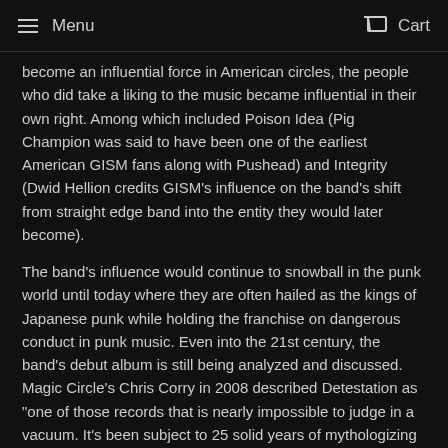Menu   Cart
become an influential force in American circles, the people who did take a liking to the music became influential in their own right. Among which included Poison Idea (Pig Champion was said to have been one of the earliest American GISM fans along with Pushead) and Integrity (Dwid Hellion credits GISM's influence on the band's shift from straight edge band into the entity they would later become).
The band's influence would continue to snowball in the punk world until today where they are often hailed as the kings of Japanese punk while holding the franchise on dangerous conduct in punk music. Even into the 21st century, the band's debut album is still being analyzed and discussed. Magic Circle's Chris Corry in 2008 described Detestation as "one of those records that is nearly impossible to judge in a vacuum. It's been subject to 25 solid years of mythologizing and collector worship. Its one of the few records that can still get an extreme reaction from people listening to it for the first time so long after it was first conceived. It's one of the harshest most brutalizing rock records ever made. It's also one of the strangest. It's a landmark intersection point for punk, hardcore, and metal, doing its something to muddy up the gene pool of each. "Greater than the sum of its